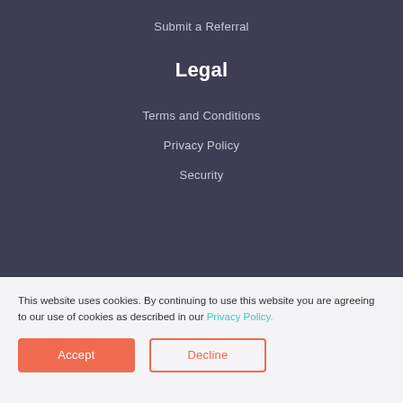Submit a Referral
Legal
Terms and Conditions
Privacy Policy
Security
This website uses cookies. By continuing to use this website you are agreeing to our use of cookies as described in our Privacy Policy.
Accept | Decline